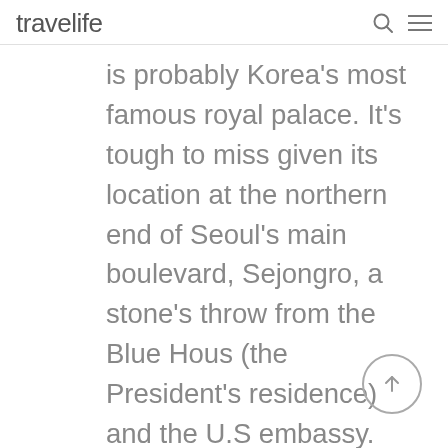travelife
is probably Korea's most famous royal palace. It's tough to miss given its location at the northern end of Seoul's main boulevard, Sejongro, a stone's throw from the Blue Hous (the President's residence) and the U.S embassy. The Palace was built in the late 1300s, and has been destroyed and reconstructed numerous